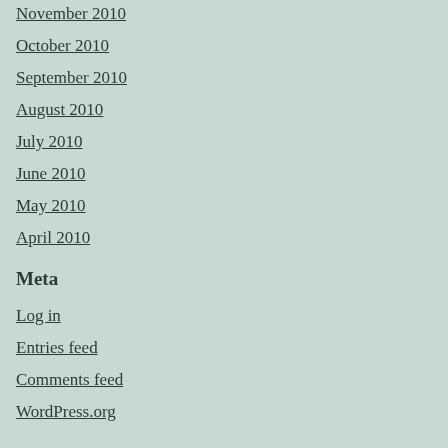November 2010
October 2010
September 2010
August 2010
July 2010
June 2010
May 2010
April 2010
Meta
Log in
Entries feed
Comments feed
WordPress.org